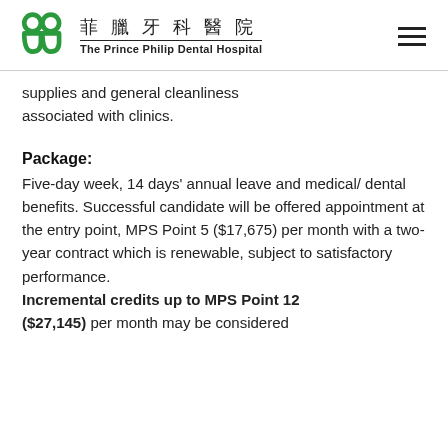菲臘牙科醫院 The Prince Philip Dental Hospital
supplies and general cleanliness associated with clinics.
Package:
Five-day week, 14 days' annual leave and medical/ dental benefits. Successful candidate will be offered appointment at the entry point, MPS Point 5 ($17,675) per month with a two-year contract which is renewable, subject to satisfactory performance. Incremental credits up to MPS Point 12 ($27,145) per month may be considered